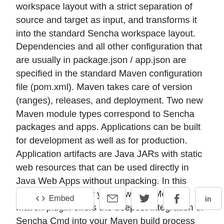workspace layout with a strict separation of source and target as input, and transforms it into the standard Sencha workspace layout. Dependencies and all other configuration that are usually in package.json / app.json are specified in the standard Maven configuration file (pom.xml). Maven takes care of version (ranges), releases, and deployment. Two new Maven module types correspond to Sencha packages and apps. Applications can be built for development as well as for production. Application artifacts are Java JARs with static web resources that can be used directly in Java Web Apps without unpacking. In this session, we'll show you how CoreMedia's Maven plugin offers the deepest integration of Sencha Cmd into your Maven build process available today and takes modular Ext JS development to the next level. SPEAKER: Frank Wienberg, Software Architect at CoreMedia
[Figure (other): A row of social/share buttons: Embed (with code icon), email icon, Twitter bird icon, Facebook f icon, LinkedIn in icon]